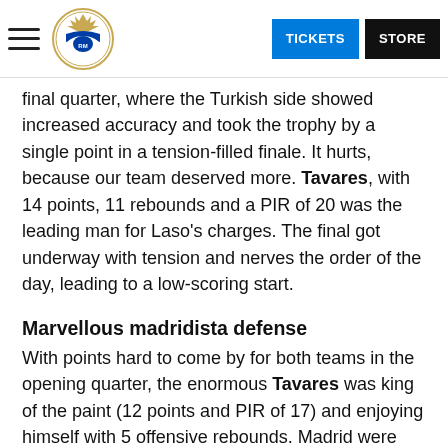TICKETS | STORE
final quarter, where the Turkish side showed increased accuracy and took the trophy by a single point in a tension-filled finale. It hurts, because our team deserved more. Tavares, with 14 points, 11 rebounds and a PIR of 20 was the leading man for Laso's charges. The final got underway with tension and nerves the order of the day, leading to a low-scoring start.
Marvellous madridista defense
With points hard to come by for both teams in the opening quarter, the enormous Tavares was king of the paint (12 points and PIR of 17) and enjoying himself with 5 offensive rebounds. Madrid were displaying incredible discipline at the back and a